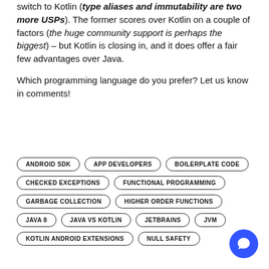switch to Kotlin (type aliases and immutability are two more USPs). The former scores over Kotlin on a couple of factors (the huge community support is perhaps the biggest) – but Kotlin is closing in, and it does offer a fair few advantages over Java.
Which programming language do you prefer? Let us know in comments!
ANDROID SDK
APP DEVELOPERS
BOILERPLATE CODE
CHECKED EXCEPTIONS
FUNCTIONAL PROGRAMMING
GARBAGE COLLECTION
HIGHER ORDER FUNCTIONS
JAVA 8
JAVA VS KOTLIN
JETBRAINS
JVM
KOTLIN ANDROID EXTENSIONS
NULL SAFETY